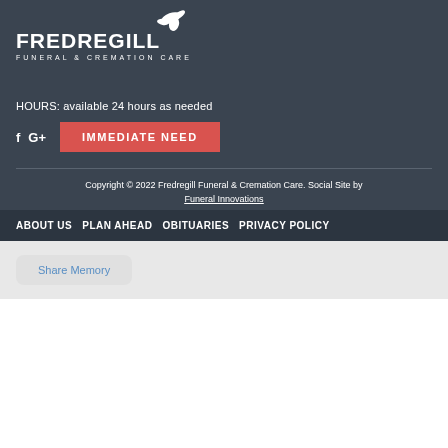[Figure (logo): Fredregill Funeral & Cremation Care logo with dove icon, white text on dark background]
HOURS: available 24 hours as needed
f  G+  IMMEDIATE NEED
Copyright © 2022 Fredregill Funeral & Cremation Care. Social Site by Funeral Innovations
ABOUT US  PLAN AHEAD  OBITUARIES  PRIVACY POLICY
Share Memory